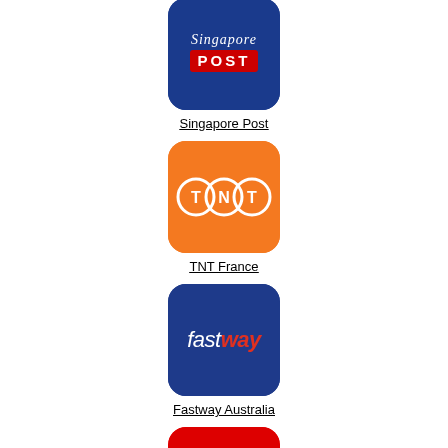[Figure (logo): Singapore Post logo - blue rounded square with Singapore Post cursive and POST text]
Singapore Post
[Figure (logo): TNT France logo - orange rounded square with three white circles containing T, N, T letters]
TNT France
[Figure (logo): Fastway Australia logo - dark blue rounded square with fastway text in white and red]
Fastway Australia
[Figure (logo): Red rounded square logo with white envelope/M icon - partially visible at bottom]